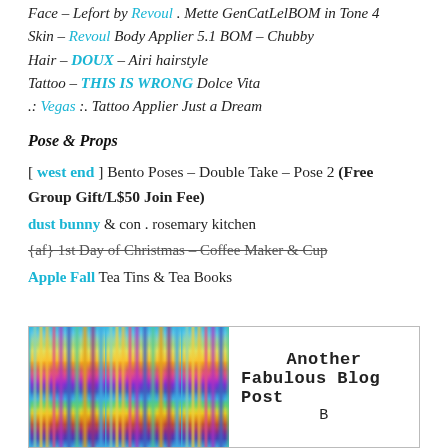Face – Lefort by Revoul . Mette GenCatLelBOM in Tone 4
Skin – Revoul Body Applier 5.1 BOM – Chubby
Hair – DOUX – Airi hairstyle
Tattoo – THIS IS WRONG Dolce Vita
.: Vegas :. Tattoo Applier Just a Dream
Pose & Props
[ west end ] Bento Poses – Double Take – Pose 2 (Free Group Gift/L$50 Join Fee)
dust bunny & con . rosemary kitchen
{af} 1st Day of Christmas – Coffee Maker & Cup
Apple Fall Tea Tins & Tea Books
[Figure (illustration): Banner image with rainbow gradient on left side and text 'Another Fabulous Blog Post' on right side]